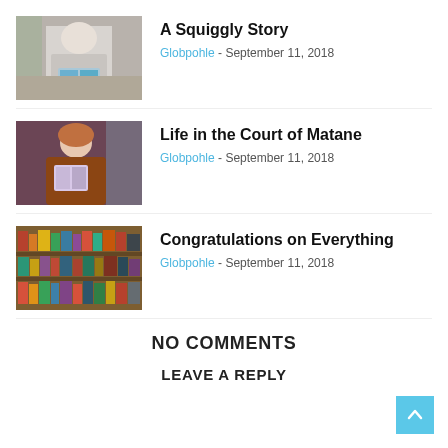[Figure (photo): Person holding a book, standing near a table]
A Squiggly Story
Globpohle - September 11, 2018
[Figure (photo): Person reading or holding a book, wearing a brown jacket]
Life in the Court of Matane
Globpohle - September 11, 2018
[Figure (photo): Shelves of colorful books in a bookstore]
Congratulations on Everything
Globpohle - September 11, 2018
NO COMMENTS
LEAVE A REPLY